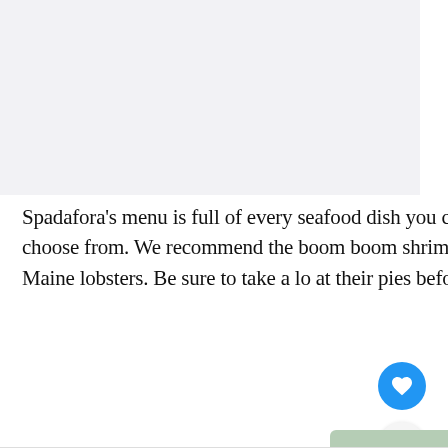[Figure (photo): Light gray placeholder image area at the top of the page]
Spadafora's menu is full of every seafood dish you could ever imagine, so there's plenty to choose from. We recommend the boom boom shrimp, deviled clams, supreme combo, or Maine lobsters. Be sure to take a look at their pies before you leave!
Order Online